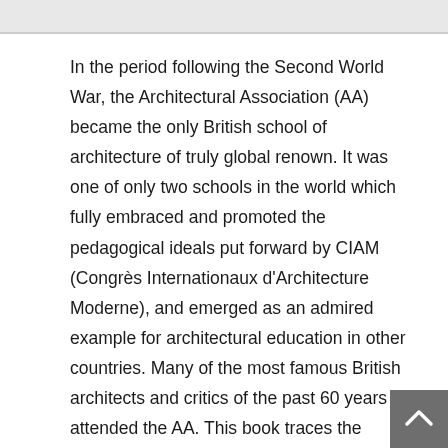In the period following the Second World War, the Architectural Association (AA) became the only British school of architecture of truly global renown. It was one of only two schools in the world which fully embraced and promoted the pedagogical ideals put forward by CIAM (Congrès Internationaux d'Architecture Moderne), and emerged as an admired example for architectural education in other countries. Many of the most famous British architects and critics of the past 60 years attended the AA. This book traces the history of the school from the end of the war until the mid-1960's, when it surrendered its position as the pacemaker in British architectural education in order to safeguard its institutional independence. Alvin Boyarsky, who